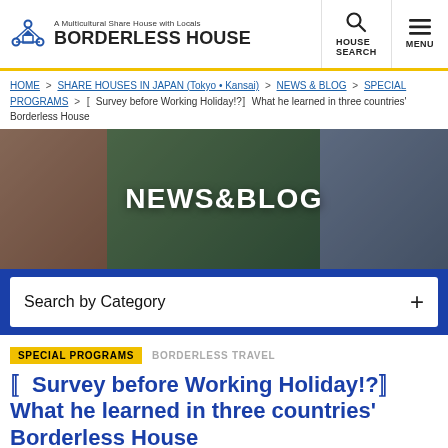A Multicultural Share House with Locals BORDERLESS HOUSE | HOUSE SEARCH | MENU
HOME > SHARE HOUSES IN JAPAN (Tokyo • Kansai) > NEWS & BLOG > SPECIAL PROGRAMS > 〚Survey before Working Holiday!?〛What he learned in three countries' Borderless House
[Figure (photo): Hero banner image showing groups of people at a multicultural share house, with text NEWS&BLOG overlaid in white on a dark overlay]
Search by Category +
SPECIAL PROGRAMS   BORDERLESS TRAVEL
〚Survey before Working Holiday!?〛What he learned in three countries' Borderless House